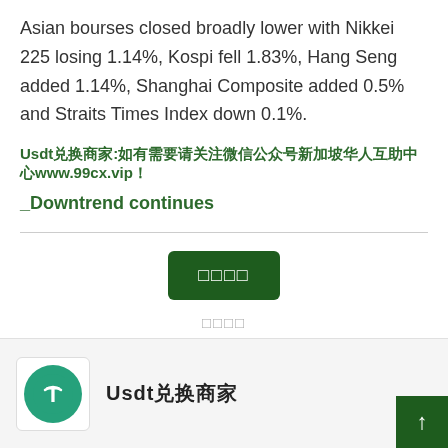Asian bourses closed broadly lower with Nikkei 225 losing 1.14%, Kospi fell 1.83%, Hang Seng added 1.14%, Shanghai Composite added 0.5% and Straits Times Index down 0.1%.
Usdt兑换商家:如有需要请关注微信公众号新加坡华人互助中心www.99cx.vip！
_Downtrend continues
[Figure (other): A dark green button with Chinese characters (四个方块字), below it a label with Chinese characters (四个方块字)]
[Figure (logo): Tether (USDT) logo: green circle with white T and arrow symbol inside a white bordered box]
Usdt兑换商家